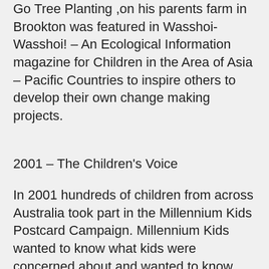Go Tree Planting ,on his parents farm in Brookton was featured in Wasshoi- Wasshoi! – An Ecological Information magazine for Children in the Area of Asia – Pacific Countries to inspire others to develop their own change making projects.
2001 – The Children's Voice
In 2001 hundreds of children from across Australia took part in the Millennium Kids Postcard Campaign. Millennium Kids wanted to know what kids were concerned about and wanted to know how they could help empower young people to be active in their